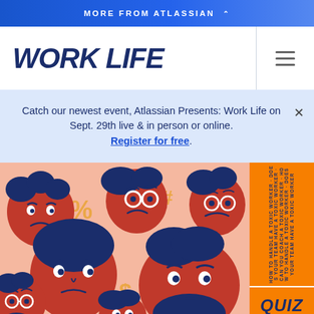MORE FROM ATLASSIAN
WORK LIFE
Catch our newest event, Atlassian Presents: Work Life on Sept. 29th live & in person or online. Register for free.
[Figure (illustration): Colorful illustrated faces with angry/grumpy expressions on a pink background with orange decorative shapes. Six cartoon faces with navy hair and orange/red skin tones.]
[Figure (infographic): Orange panel with vertical text repeating about toxic workers and team management. QUIZ label at bottom.]